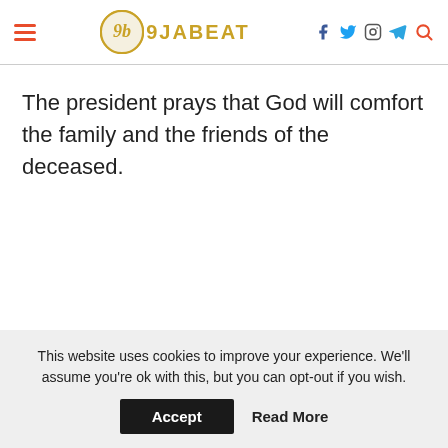9JABEAT — navigation header with logo and social icons
The president prays that God will comfort the family and the friends of the deceased.
This website uses cookies to improve your experience. We'll assume you're ok with this, but you can opt-out if you wish. Accept  Read More